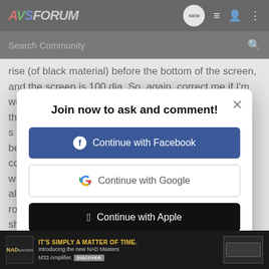[Figure (screenshot): AVS Forum navigation bar with logo and icons]
[Figure (screenshot): Search Community search bar]
rise (of black material) before the bottom of the screen, and the screen is 100 dia. So, again, correct me if I'm wrong, but I think th... s... be... co... w... a... ro... sl... w... th... th... Panny... trump ca... Insane...
[Figure (screenshot): Modal dialog: Join now to ask and comment! with Continue with Facebook, Continue with Google, Continue with Apple buttons, and or sign up with email link]
[Figure (screenshot): NAD advertisement banner: IT'S SIMPLY A MATTER OF TIME. Introducing the new NAD Masters M33 Amplifier. DISCOVER]